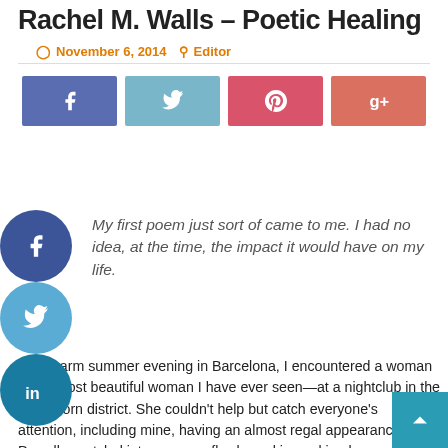Rachel M. Walls – Poetic Healing
November 6, 2014   Editor
[Figure (other): Social share buttons: Facebook, Twitter, Pinterest, Google+]
[Figure (other): Side social icons: Facebook (circle), Twitter (circle), LinkedIn (circle)]
My first poem just sort of came to me. I had no idea, at the time, the impact it would have on my life.
During a warm summer evening in Barcelona, I encountered a woman—the most beautiful woman I have ever seen—at a nightclub in the city's Born district. She couldn't help but catch everyone's attention, including mine, having an almost regal appearance: Dreadlocs styled into a crown, flawless skin peeking beyond a cutting-edge gown, which covered her nearly six-foot, thin frame. Stunning. A fellow patron related to me that she visited from Belgium once a month to find someone to dance with. As soon as I knew that, well, she...